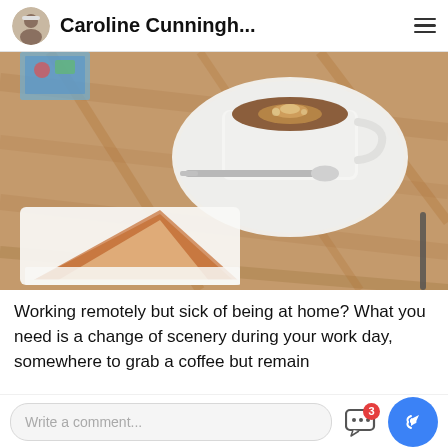Caroline Cunningh...
[Figure (photo): Overhead photo of a cup of cappuccino on a white saucer with a spoon, and a slice of cake on a white plate, on a wooden table surface.]
Working remotely but sick of being at home? What you need is a change of scenery during your work day, somewhere to grab a coffee but remain
Write a comment...